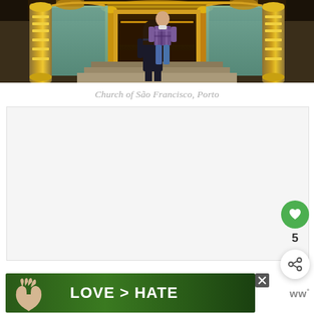[Figure (photo): Two people standing in front of the ornate gilded interior of the Church of São Francisco in Porto. One person faces the camera at the top of steps, the other stands with back to camera at the bottom.]
Church of São Francisco, Porto
[Figure (other): Empty advertisement placeholder area with light gray background]
[Figure (other): Green circular heart/like button (FAB), count of 5, and a share button with network icon]
[Figure (photo): Advertisement banner showing hands making a heart shape with green foliage background and text LOVE > HATE]
[Figure (logo): WW logo with superscript circle in gray at bottom right]